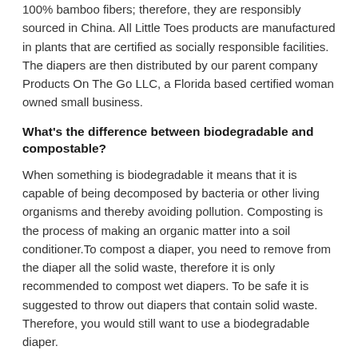100% bamboo fibers; therefore, they are responsibly sourced in China. All Little Toes products are manufactured in plants that are certified as socially responsible facilities. The diapers are then distributed by our parent company Products On The Go LLC, a Florida based certified woman owned small business.
What's the difference between biodegradable and compostable?
When something is biodegradable it means that it is capable of being decomposed by bacteria or other living organisms and thereby avoiding pollution. Composting is the process of making an organic matter into a soil conditioner.To compost a diaper, you need to remove from the diaper all the solid waste, therefore it is only recommended to compost wet diapers. To be safe it is suggested to throw out diapers that contain solid waste. Therefore, you would still want to use a biodegradable diaper.
Are Little Toes Diapers biodegradable?
[Figure (illustration): A cartoon illustration of a smiling baby wrapped in a light blue blanket or swaddle.]